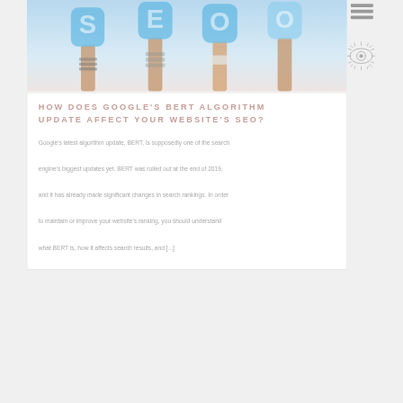[Figure (photo): Hands holding up blue balloon letters spelling SEO or similar, against a light background]
HOW DOES GOOGLE'S BERT ALGORITHM UPDATE AFFECT YOUR WEBSITE'S SEO?
Google's latest algorithm update, BERT, is supposedly one of the search engine's biggest updates yet. BERT was rolled out at the end of 2019, and it has already made significant changes in search rankings. In order to maintain or improve your website's ranking, you should understand what BERT is, how it affects search results, and [...]